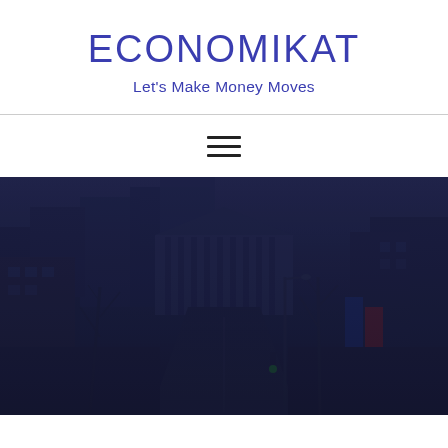ECONOMIKAT
Let's Make Money Moves
[Figure (photo): Dark-toned street-level photograph of a European city boulevard with historic buildings, bare trees, traffic lights, and a large classical building visible in the background. The image has a dark blue overlay.]